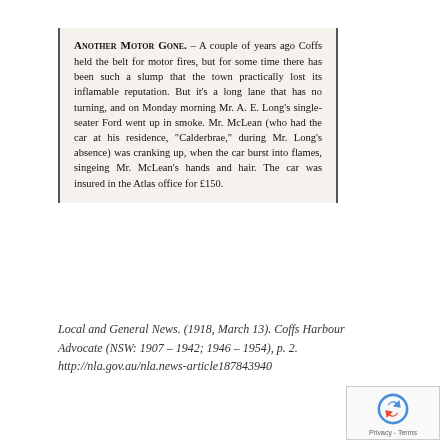ANOTHER MOTOR GONE. – A couple of years ago Coffs held the belt for motor fires, but for some time there has been such a slump that the town practically lost its inflamable reputation. But it's a long lane that has no turning, and on Monday morning Mr. A. E. Long's single-seater Ford went up in smoke. Mr. McLean (who had the car at his residence, "Calderbrae," during Mr. Long's absence) was cranking up, when the car burst into flames, singeing Mr. McLean's hands and hair. The car was insured in the Atlas office for £150.
Local and General News. (1918, March 13). Coffs Harbour Advocate (NSW: 1907 – 1942; 1946 – 1954), p. 2. http://nla.gov.au/nla.news-article187843940